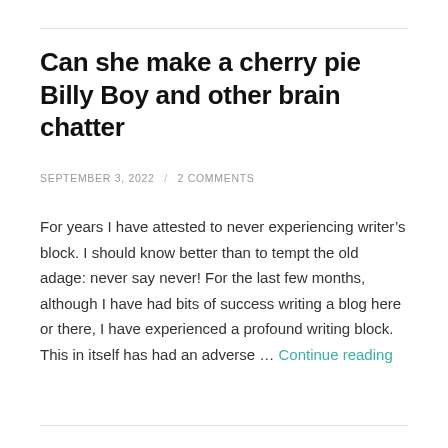Can she make a cherry pie Billy Boy and other brain chatter
SEPTEMBER 3, 2022 / 2 COMMENTS
For years I have attested to never experiencing writer’s block. I should know better than to tempt the old adage: never say never! For the last few months, although I have had bits of success writing a blog here or there, I have experienced a profound writing block. This in itself has had an adverse … Continue reading